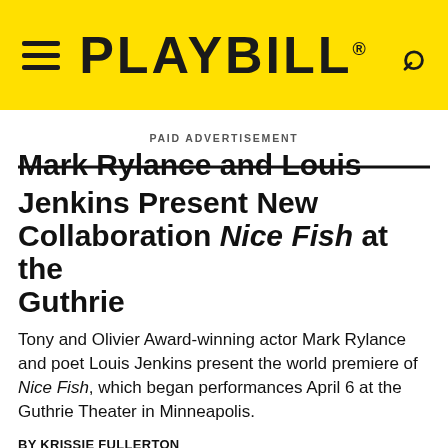PLAYBILL
PAID ADVERTISEMENT
Mark Rylance and Louis Jenkins Present New Collaboration Nice Fish at the Guthrie
Tony and Olivier Award-winning actor Mark Rylance and poet Louis Jenkins present the world premiere of Nice Fish, which began performances April 6 at the Guthrie Theater in Minneapolis.
BY KRISSIE FULLERTON
MAY 02, 2013